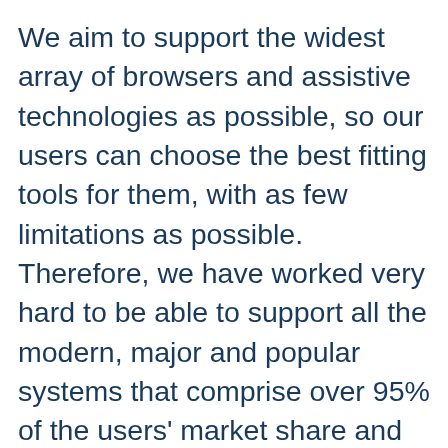We aim to support the widest array of browsers and assistive technologies as possible, so our users can choose the best fitting tools for them, with as few limitations as possible. Therefore, we have worked very hard to be able to support all the modern, major and popular systems that comprise over 95% of the users' market share and include: Google Chrome, Mozilla Firefox, Apple Safari, Opera, Microsoft Edge and I.E 11 or above, JAWS and NVDA (screen readers), both for Windows and for MAC users. This website is operable using [accessibility icon] other systems and platforms as well, though we